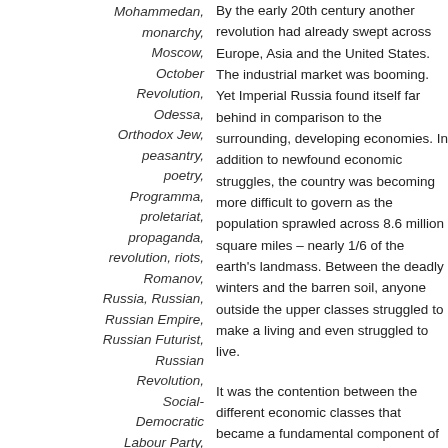Mohammedan, monarchy, Moscow, October Revolution, Odessa, Orthodox Jew, peasantry, poetry, Programma, proletariat, propaganda, revolution, riots, Romanov, Russia, Russian, Russian Empire, Russian Futurist, Russian Revolution, Social-Democratic Labour Party,
By the early 20th century another revolution had already swept across Europe, Asia and the United States. The industrial market was booming. Yet Imperial Russia found itself far behind in comparison to the surrounding, developing economies. In addition to newfound economic struggles, the country was becoming more difficult to govern as the population sprawled across 8.6 million square miles – nearly 1/6 of the earth's landmass. Between the deadly winters and the barren soil, anyone outside the upper classes struggled to make a living and even struggled to live.
It was the contention between the different economic classes that became a fundamental component of Bolshevik strategy – aligning the proletariat with the peasantry to fight against the bourgeois leaders who controlled and exploited their working class citizens. Vladimir Lenin and Leon Trotsky, the founding fathers of the Russian revolution, organized and educated the masses, inspiring everyday people to stand up and